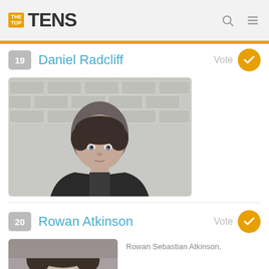THE TOP TENS
19 Daniel Radcliff  Vote
[Figure (photo): Photograph of Daniel Radcliff, a young man with dark hair wearing a dark jacket, posed against a white brick wall background.]
20 Rowan Atkinson  Vote
[Figure (photo): Partial photograph of Rowan Atkinson, showing top of head with dark hair.]
Rowan Sebastian Atkinson,